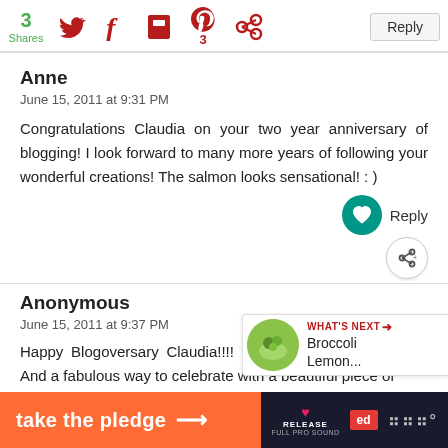3 Shares | Twitter | Facebook | Flipboard | Pinterest 3 | Share
Reply
Anne
June 15, 2011 at 9:31 PM
Congratulations Claudia on your two year anniversary of blogging! I look forward to many more years of following your wonderful creations! The salmon looks sensational! : )
Reply
Anonymous
June 15, 2011 at 9:37 PM
Happy Blogoversary Claudia!!!! :) Yay, so happy for you!!! And a fabulous way to celebrate with a beautiful piece of
[Figure (infographic): WHAT'S NEXT arrow with thumbnail image of Broccoli Lemon... dish]
[Figure (infographic): take the pledge orange banner ad with RELEASE and ed logos]